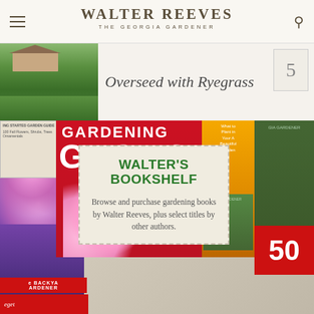WALTER REEVES THE GEORGIA GARDENER
[Figure (photo): Thumbnail of a house with green lawn]
Overseed with Ryegrass
5
[Figure (photo): Books display including Gardening Georgia and other Walter Reeves books with an overlay card reading Walter's Bookshelf]
WALTER'S BOOKSHELF
Browse and purchase gardening books by Walter Reeves, plus select titles by other authors.